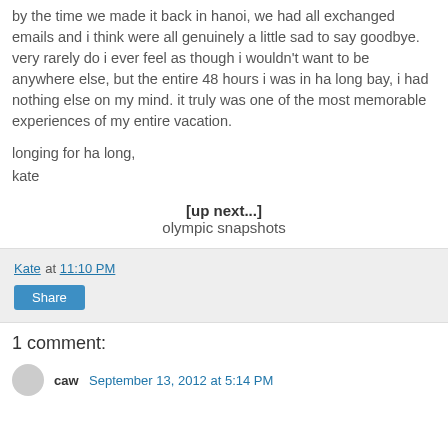by the time we made it back in hanoi, we had all exchanged emails and i think were all genuinely a little sad to say goodbye. very rarely do i ever feel as though i wouldn't want to be anywhere else, but the entire 48 hours i was in ha long bay, i had nothing else on my mind. it truly was one of the most memorable experiences of my entire vacation.
longing for ha long,
kate
[up next...]
olympic snapshots
Kate at 11:10 PM
Share
1 comment:
caw September 13, 2012 at 5:14 PM